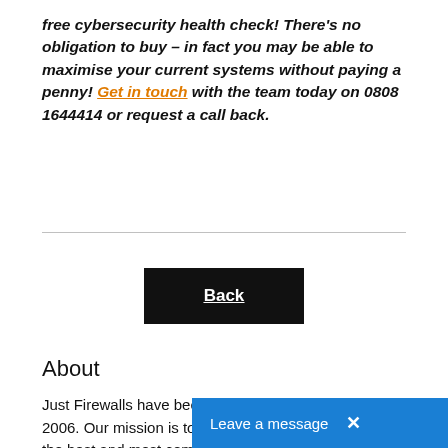free cybersecurity health check! There's no obligation to buy – in fact you may be able to maximise your current systems without paying a penny! Get in touch with the team today on 0808 1644414 or request a call back.
Back
About
Just Firewalls have been providing IT services since 2006. Our mission is to provide UK businesses with the best and most comprehe... solutions without any hidde...
Leave a message ×